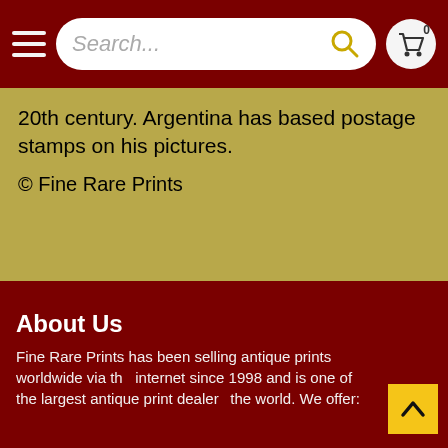Search...
20th century. Argentina has based postage stamps on his pictures.
© Fine Rare Prints
Specifications
limited edition
axel amuchastegui
some birds and animals of north america
quail
north america
About Us
Fine Rare Prints has been selling antique prints worldwide via the internet since 1998 and is one of the largest antique print dealers in the world. We offer: